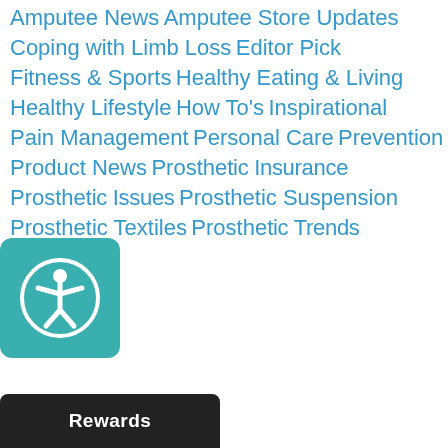Amputee News
Amputee Store Updates
Coping with Limb Loss
Editor Pick
Fitness & Sports
Healthy Eating & Living
Healthy Lifestyle
How To's
Inspirational
Pain Management
Personal Care
Prevention
Product News
Prosthetic Insurance
Prosthetic Issues
Prosthetic Suspension
Prosthetic Textiles
Prosthetic Trends